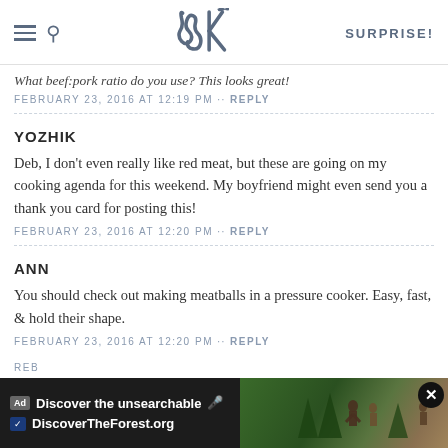SK — SURPRISE!
What beef:pork ratio do you use? This looks great!
FEBRUARY 23, 2016 AT 12:19 PM · · REPLY
YOZHIK
Deb, I don't even really like red meat, but these are going on my cooking agenda for this weekend. My boyfriend might even send you a thank you card for posting this!
FEBRUARY 23, 2016 AT 12:20 PM · · REPLY
ANN
You should check out making meatballs in a pressure cooker. Easy, fast, & hold their shape.
FEBRUARY 23, 2016 AT 12:20 PM · · REPLY
[Figure (screenshot): Advertisement banner: Discover the unsearchable / DiscoverTheForest.org with close button]